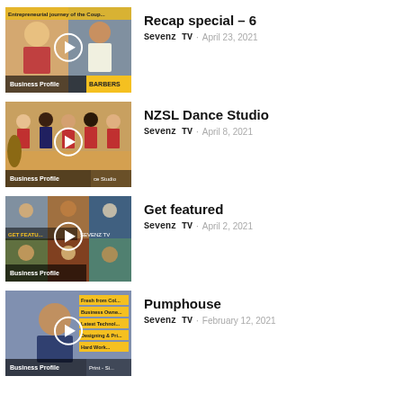[Figure (screenshot): Video thumbnail for 'Recap special – 6', Business Profile, showing two people in an office/barber setting]
Recap special – 6
Sevenz TV · April 23, 2021
[Figure (screenshot): Video thumbnail for 'NZSL Dance Studio', Business Profile, showing dancers in red and dark outfits]
NZSL Dance Studio
Sevenz TV · April 8, 2021
[Figure (screenshot): Video thumbnail for 'Get featured', Business Profile, collage of people]
Get featured
Sevenz TV · April 2, 2021
[Figure (screenshot): Video thumbnail for 'Pumphouse', Business Profile, showing a man with text overlays about business topics]
Pumphouse
Sevenz TV · February 12, 2021